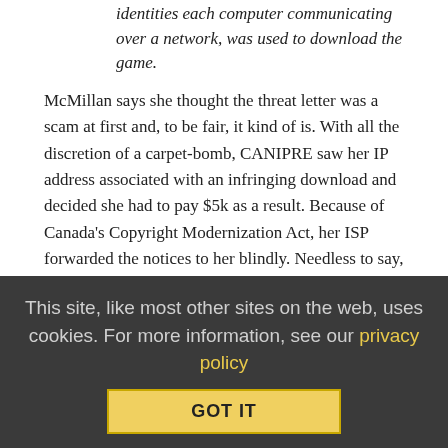identities each computer communicating over a network, was used to download the game.
McMillan says she thought the threat letter was a scam at first and, to be fair, it kind of is. With all the discretion of a carpet-bomb, CANIPRE saw her IP address associated with an infringing download and decided she had to pay $5k as a result. Because of Canada's Copyright Modernization Act, her ISP forwarded the notices to her blindly. Needless to say, this lovely woman in her eighties was both scared and confused, being told that the threat letters were legal and legit, but having never murdered a digital zombie in her life. Since receiving the letter, her confusion has turned to understandable anger.
“It seems to be a very foolish piece of legislation,” McMillan said. “That somebody can threaten you over the internet… that to me is intimidation and I can’t
This site, like most other sites on the web, uses cookies. For more information, see our privacy policy
GOT IT